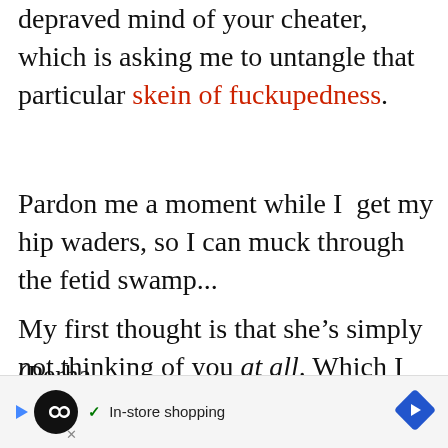depraved mind of your cheater, which is asking me to untangle that particular skein of fuckupedness.
Pardon me a moment while I  get my hip waders, so I can muck through the fetid swamp...
My first thought is that she’s simply not thinking of you at all. Which I know is a very unsatisfying answer and perhaps the most obvious. Neither she, nor her foreign fuckbuddy give a shit about your shared life together.
(Perha... ...al custo... ...in
[Figure (other): In-store shopping advertisement bar at the bottom of the page with a circular black logo with infinity symbol, a blue play triangle, checkmark text 'In-store shopping', a blue diamond arrow icon, and an X close button.]